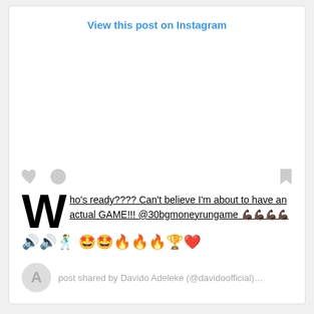[Figure (screenshot): Instagram embed showing a post by Davido with text: Who's ready???? Can't believe I'm about to have an actual GAME!!! @30bgmoneyrungame with muscle emojis, sound emojis, dancer, star eyes, fire, trophy and heart emojis. Shared by Davido Adeleke (@davidoofficial)...]
It appears the Afrobeat star is keen on dabbling into more tasking business ventures surpassing the familiar boundaries of his music career.
Merging technology with entertainment to design a